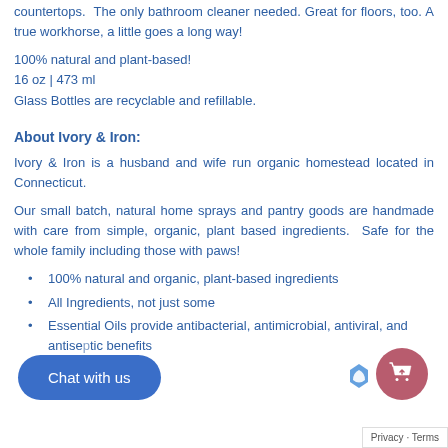countertops. The only bathroom cleaner needed. Great for floors, too. A true workhorse, a little goes a long way!
100% natural and plant-based!
16 oz | 473 ml
Glass Bottles are recyclable and refillable.
About Ivory & Iron:
Ivory & Iron is a husband and wife run organic homestead located in Connecticut.
Our small batch, natural home sprays and pantry goods are handmade with care from simple, organic, plant based ingredients. Safe for the whole family including those with paws!
100% natural and organic, plant-based ingredients
All Ingredients, not just some
Essential Oils provide antibacterial, antimicrobial, antiviral, and antiseptic benefits
Non-toxic